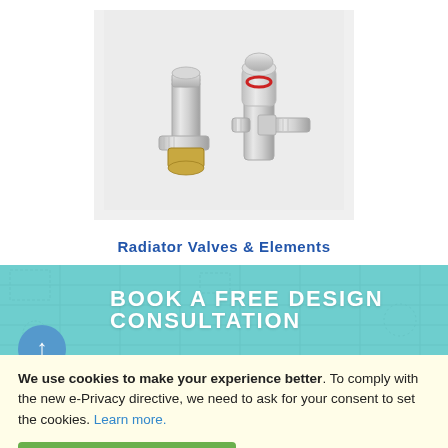[Figure (photo): Two chrome radiator valves – a manual angled valve and a thermostatic straight valve – on a light grey background]
Radiator Valves & Elements
[Figure (infographic): Teal banner with blueprint-style background line art reading BOOK A FREE DESIGN CONSULTATION, with a blue circular up-arrow button on the left]
We use cookies to make your experience better. To comply with the new e-Privacy directive, we need to ask for your consent to set the cookies. Learn more.
ALLOW COOKIES